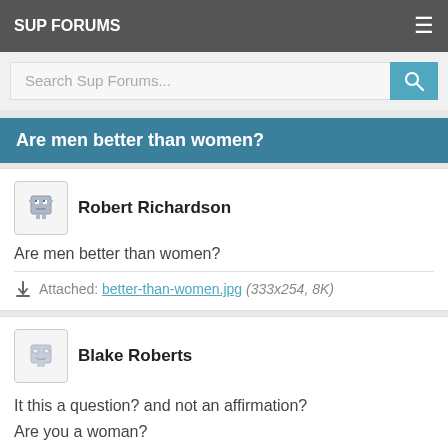SUP FORUMS
Search Sup Forums...
Are men better than women?
Robert Richardson
Are men better than women?
Attached: better-than-women.jpg (333x254, 8K)
Blake Roberts
It this a question? and not an affirmation?
Are you a woman?
You retarded piece of shit